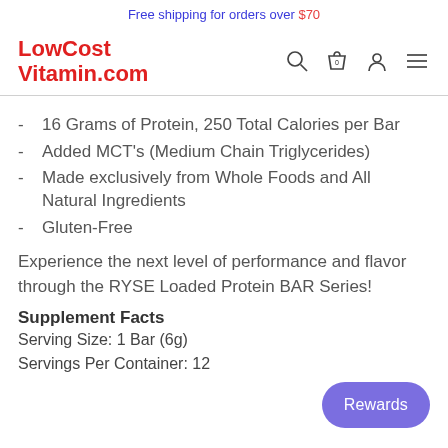Free shipping for orders over $70
LowCost Vitamin.com
16 Grams of Protein, 250 Total Calories per Bar
Added MCT's (Medium Chain Triglycerides)
Made exclusively from Whole Foods and All Natural Ingredients
Gluten-Free
Experience the next level of performance and flavor through the RYSE Loaded Protein BAR Series!
Supplement Facts
Serving Size: 1 Bar (6g)
Servings Per Container: 12